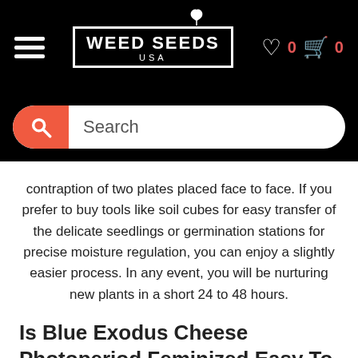[Figure (screenshot): Website navigation bar with hamburger menu, Weed Seeds USA logo, heart icon with count 0, and cart icon with count 0, all on black background]
[Figure (screenshot): Search bar with red/orange circular search icon on left and 'Search' placeholder text on white rounded rectangle, on black background]
contraption of two plates placed face to face. If you prefer to buy tools like soil cubes for easy transfer of the delicate seedlings or germination stations for precise moisture regulation, you can enjoy a slightly easier process. In any event, you will be nurturing new plants in a short 24 to 48 hours.
Is Blue Exodus Cheese Photoperiod Feminized Easy To Grow At Home?
This perfectly balanced hybrid shows the best traits of each in its growth patterns. The sativa spacing paired with the robust indica creates a plant that is easy to grow and can be cultivated in or outdoors. A garden grow is where this herb shines. If you give your plants lots of